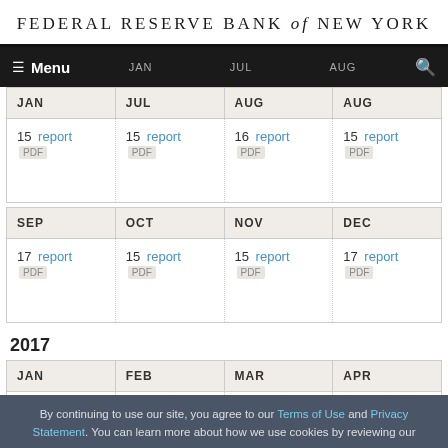FEDERAL RESERVE BANK of NEW YORK
| JAN | JUL | AUG |
| --- | --- | --- |
| 15 report PDF | 15 report PDF | 16 report PDF | 15 report PDF |
| SEP | OCT | NOV | DEC |
| --- | --- | --- | --- |
| 17 report PDF | 15 report PDF | 15 report PDF | 17 report PDF |
2017
| JAN | FEB | MAR | APR |
| --- | --- | --- | --- |
| 17 report PDF | 15 report PDF | 15 report PDF | 17 report PDF |
By continuing to use our site, you agree to our Terms of Use and Privacy Statement. You can learn more about how we use cookies by reviewing our Privacy Statement.